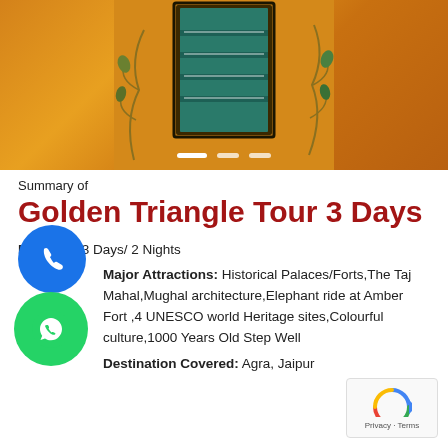[Figure (photo): Orange/golden painted wall with a green wooden door/window, decorative floral paintings on the sides, with slider indicator dots at bottom]
Summary of
Golden Triangle Tour 3 Days
Duration: 3 Days/ 2 Nights
Major Attractions: Historical Palaces/Forts,The Taj Mahal,Mughal architecture,Elephant ride at Amber Fort ,4 UNESCO world Heritage sites,Colourful culture,1000 Years Old Step Well
Destination Covered: Agra, Jaipur